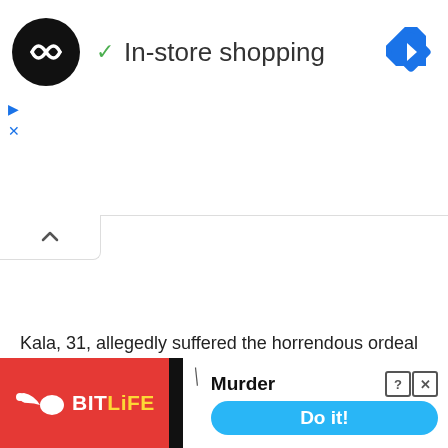[Figure (screenshot): Advertisement banner showing a circular black logo with infinity symbol, green checkmark, and text 'In-store shopping', with a blue diamond navigation arrow on the right. Below are small blue ad control icons (play triangle and X). A white collapse tab with an upward caret is shown below the ad bar.]
Kala, 31, allegedly suffered the horrendous ordeal of watching her boyfriend murdered, being held captive and being r... nd alive o... nside
[Figure (screenshot): Overlay ad for BitLife mobile game. Red background with white BitLife logo (sperm icon) and 'Murder' text with 'Do it!' blue button. Close button with ? and X in top right corner. A slash/knife icon appears above the button area.]